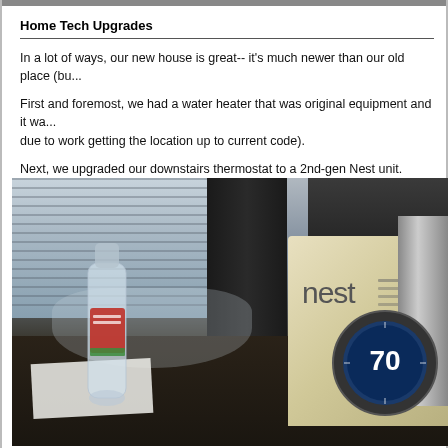Home Tech Upgrades
In a lot of ways, our new house is great-- it's much newer than our old place (bu...
First and foremost, we had a water heater that was original equipment and it wa... due to work getting the location up to current code).
Next, we upgraded our downstairs thermostat to a 2nd-gen Nest unit.
[Figure (photo): Photo of a Nest thermostat box sitting on a dark granite counter, alongside a plastic water bottle, with a window with blinds and dark appliances visible in the background.]